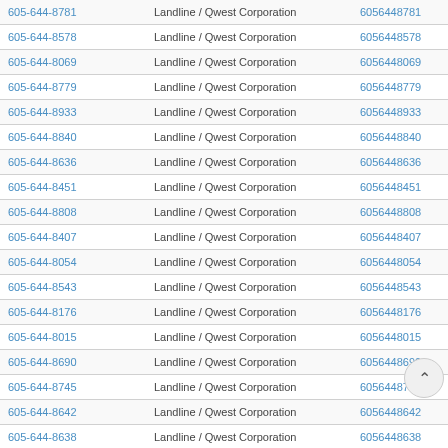| Phone | Type / Carrier | Number | Action |
| --- | --- | --- | --- |
| 605-644-8781 | Landline / Qwest Corporation | 6056448781 | View |
| 605-644-8578 | Landline / Qwest Corporation | 6056448578 | View |
| 605-644-8069 | Landline / Qwest Corporation | 6056448069 | View |
| 605-644-8779 | Landline / Qwest Corporation | 6056448779 | View |
| 605-644-8933 | Landline / Qwest Corporation | 6056448933 | View |
| 605-644-8840 | Landline / Qwest Corporation | 6056448840 | View |
| 605-644-8636 | Landline / Qwest Corporation | 6056448636 | View |
| 605-644-8451 | Landline / Qwest Corporation | 6056448451 | View |
| 605-644-8808 | Landline / Qwest Corporation | 6056448808 | View |
| 605-644-8407 | Landline / Qwest Corporation | 6056448407 | View |
| 605-644-8054 | Landline / Qwest Corporation | 6056448054 | View |
| 605-644-8543 | Landline / Qwest Corporation | 6056448543 | View |
| 605-644-8176 | Landline / Qwest Corporation | 6056448176 | View |
| 605-644-8015 | Landline / Qwest Corporation | 6056448015 | View |
| 605-644-8690 | Landline / Qwest Corporation | 6056448690 | View |
| 605-644-8745 | Landline / Qwest Corporation | 6056448745 | View |
| 605-644-8642 | Landline / Qwest Corporation | 6056448642 | View |
| 605-644-8638 | Landline / Qwest Corporation | 6056448638 | View |